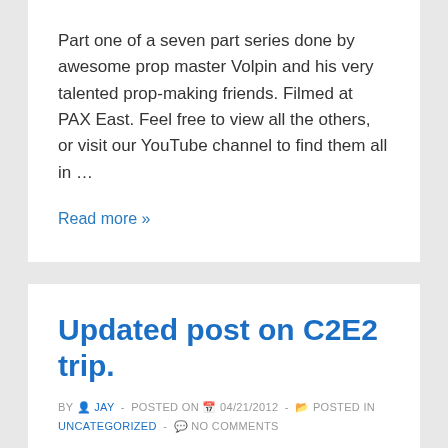Part one of a seven part series done by awesome prop master Volpin and his very talented prop-making friends. Filmed at PAX East. Feel free to view all the others, or visit our YouTube channel to find them all in …
Read more »
Updated post on C2E2 trip.
BY JAY - POSTED ON 04/21/2012 - POSTED IN UNCATEGORIZED - NO COMMENTS
For those who were here before and saw the